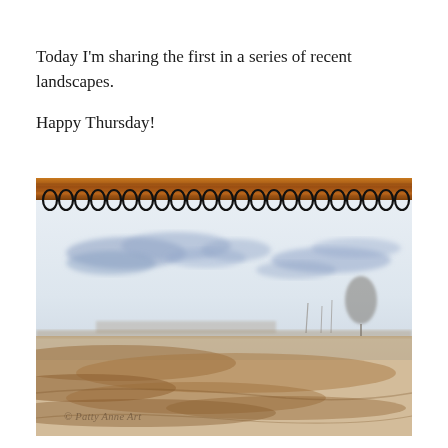Today I'm sharing the first in a series of recent landscapes.

Happy Thursday!
[Figure (illustration): A watercolor landscape painted in a spiral-bound sketchbook. The sketchbook has a wooden cover visible at top with black spiral rings. The painting shows a wide open landscape with blue-grey wispy clouds across a pale sky, a distant treeline with bare trees and one fuller tree on the right, and brown earthy fields in the foreground rendered in warm sienna and tan washes. A copyright watermark reads '© Patty Anne Art'.]